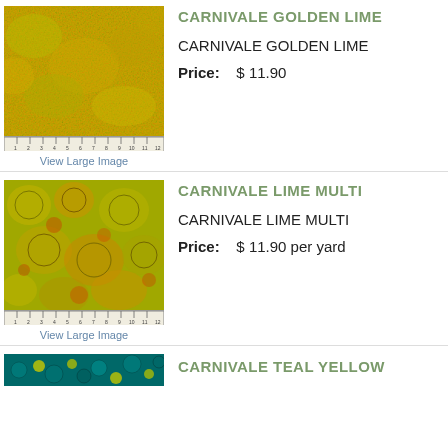CARNIVALE GOLDEN LIME
CARNIVALE GOLDEN LIME
Price:   $ 11.90
[Figure (photo): Golden lime colored fabric swatch with mottled texture and ruler below]
View Large Image
CARNIVALE LIME MULTI
CARNIVALE LIME MULTI
Price:   $ 11.90 per yard
[Figure (photo): Lime multi colored floral fabric swatch with ruler below]
View Large Image
CARNIVALE TEAL YELLOW